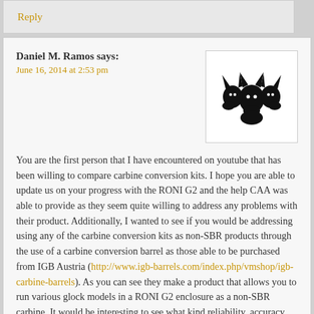Reply
Daniel M. Ramos says:
June 16, 2014 at 2:53 pm
[Figure (illustration): Black and white logo showing three dog/wolf heads facing different directions]
You are the first person that I have encountered on youtube that has been willing to compare carbine conversion kits. I hope you are able to update us on your progress with the RONI G2 and the help CAA was able to provide as they seem quite willing to address any problems with their product. Additionally, I wanted to see if you would be addressing using any of the carbine conversion kits as non-SBR products through the use of a carbine conversion barrel as those able to be purchased from IGB Austria (http://www.igb-barrels.com/index.php/vmshop/igb-carbine-barrels). As you can see they make a product that allows you to run various glock models in a RONI G2 enclosure as a non-SBR carbine. It would be interesting to see what kind reliability, accuracy, and power is achieved with a RONI G2 and a 16″ barrel.